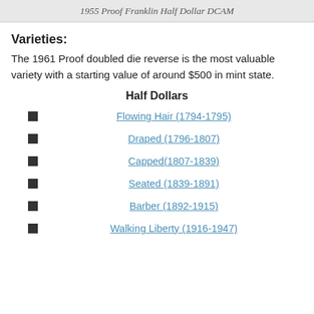1955 Proof Franklin Half Dollar DCAM
Varieties:
The 1961 Proof doubled die reverse is the most valuable variety with a starting value of around $500 in mint state.
Half Dollars
Flowing Hair (1794-1795)
Draped (1796-1807)
Capped(1807-1839)
Seated (1839-1891)
Barber (1892-1915)
Walking Liberty (1916-1947)